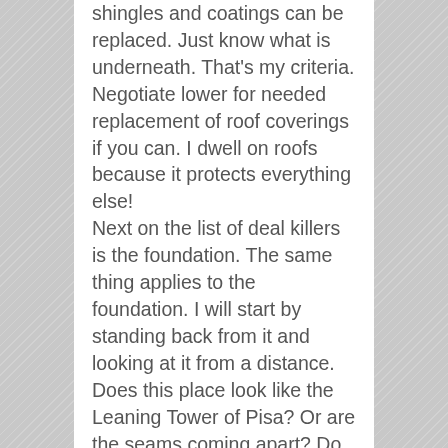shingles and coatings can be replaced. Just know what is underneath. That's my criteria. Negotiate lower for needed replacement of roof coverings if you can. I dwell on roofs because it protects everything else! Next on the list of deal killers is the foundation. The same thing applies to the foundation. I will start by standing back from it and looking at it from a distance. Does this place look like the Leaning Tower of Pisa? Or are the seams coming apart? Do the windows and doors look square? Are porches, stairs and additions on firm ground as well? Block homes can tell you very quickly if they are stressed out just by the appearance of the mortar joints. Those giant unsettling cracks can and do tell a story. This does happen and mortar cracks maybe 10-years old. You need to